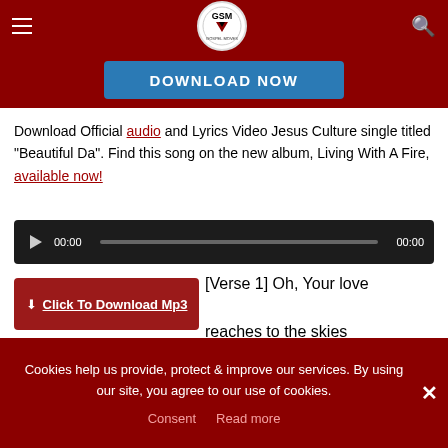GSM Gospel Moves — header navigation bar with logo, hamburger menu, and search icon
[Figure (screenshot): Blue Download Now button banner]
Download Official audio and Lyrics Video Jesus Culture single titled "Beautiful Da". Find this song on the new album, Living With A Fire, available now!
[Figure (other): Audio player with play button, 00:00 timestamps and grey progress bar on dark background]
[Figure (other): Red Click To Download Mp3 button]
[Verse 1] Oh, Your love reaches to the skies
Cookies help us provide, protect & improve our services. By using our site, you agree to our use of cookies. Consent  Read more